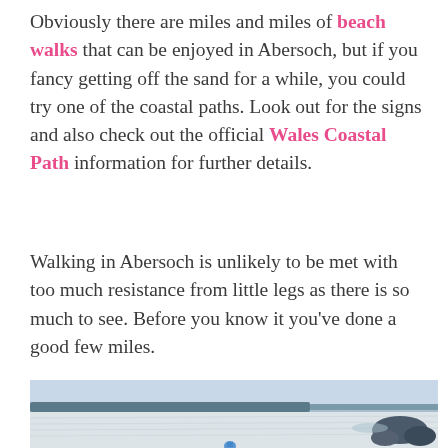Obviously there are miles and miles of beach walks that can be enjoyed in Abersoch, but if you fancy getting off the sand for a while, you could try one of the coastal paths. Look out for the signs and also check out the official Wales Coastal Path information for further details.
Walking in Abersoch is unlikely to be met with too much resistance from little legs as there is so much to see. Before you know it you’ve done a good few miles.
[Figure (photo): A wide sandy beach with calm water and a distant headland. Rocky outcrop visible on the right side. Misty/hazy sky. A small blue figure visible near the bottom center.]